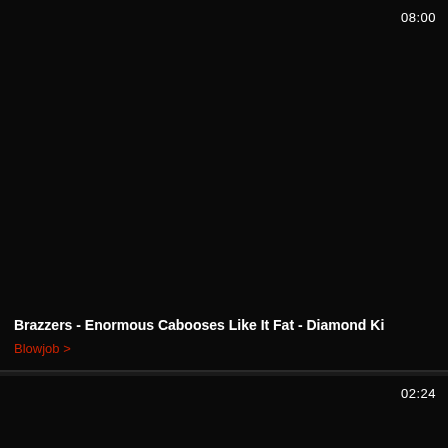[Figure (screenshot): Video thumbnail card with black background, duration 08:00 shown in top right corner, video title and category overlaid at bottom]
Brazzers - Enormous Cabooses Like It Fat - Diamond Ki
Blowjob >
[Figure (screenshot): Second video thumbnail card with black background, duration 02:24 shown in top right corner]